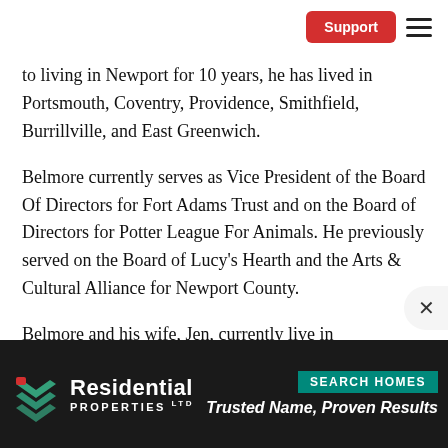Support
to living in Newport for 10 years, he has lived in Portsmouth, Coventry, Providence, Smithfield, Burrillville, and East Greenwich.
Belmore currently serves as Vice President of the Board Of Directors for Fort Adams Trust and on the Board of Directors for Potter League For Animals. He previously served on the Board of Lucy's Hearth and the Arts & Cultural Alliance for Newport County.
Belmore and his wife, Jen, currently live in
[Figure (logo): Residential Properties Ltd. advertisement banner with logo and 'Trusted Name, Proven Results' tagline and 'SEARCH HOMES' button]